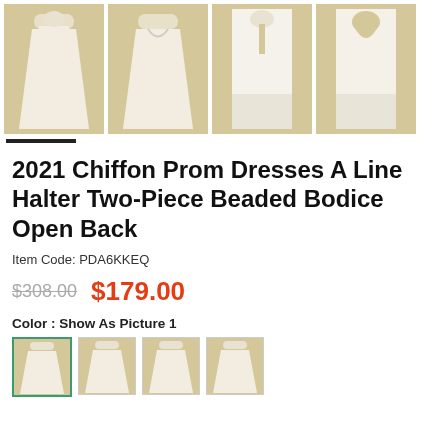[Figure (photo): Four product photos of white prom dress on mannequin, showing front and back views]
2021 Chiffon Prom Dresses A Line Halter Two-Piece Beaded Bodice Open Back
Item Code: PDA6KKEQ
$308.00  $179.00
Color : Show As Picture 1
[Figure (photo): Four small color swatch thumbnail images of the dress]